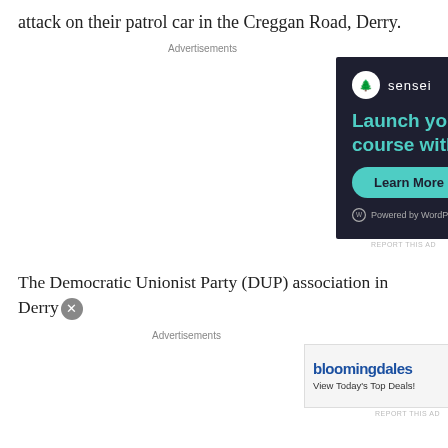attack on their patrol car in the Creggan Road, Derry.
Advertisements
[Figure (screenshot): Sensei advertisement: 'Launch your online course with WordPress' with Learn More button and Powered by WordPress.com footer on dark navy background.]
The Democratic Unionist Party (DUP) association in Derry
Advertisements
[Figure (screenshot): Bloomingdale's advertisement with text 'View Today's Top Deals!' and 'SHOP NOW >' button, featuring an image of a woman in a wide-brim hat.]